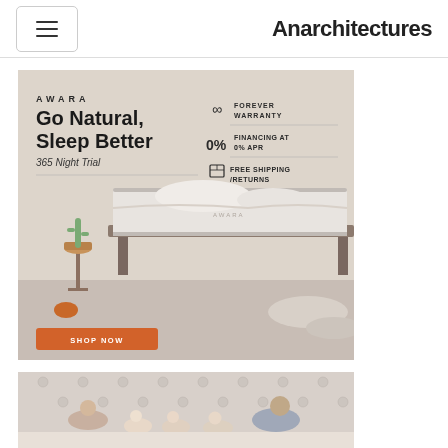Anarchitectures
[Figure (photo): AWARA mattress advertisement: 'Go Natural, Sleep Better' with 365 Night Trial, featuring icons for Forever Warranty (infinity symbol), 0% Financing at 0% APR, Free Shipping/Returns, and a SHOP NOW orange button. Background shows a mattress on a bed frame with plants and pillows in a natural setting.]
[Figure (photo): Family scene showing a couple with three children sitting together on a bed with a tufted headboard.]